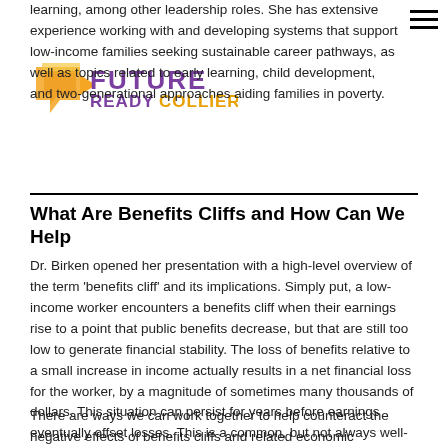[Figure (logo): Future Ready Collier logo with orange/yellow arrow speech bubble icon and purple text]
learning, among other leadership roles. She has extensive experience working with and developing systems that support low-income families seeking sustainable career pathways, as well as topics related to early learning, child development, and two-generational approaches aiding families in poverty.
What Are Benefits Cliffs and How Can We Help
Dr. Birken opened her presentation with a high-level overview of the term 'benefits cliff' and its implications. Simply put, a low-income worker encounters a benefits cliff when their earnings rise to a point that public benefits decrease, but that are still too low to generate financial stability. The loss of benefits relative to a small increase in income actually results in a net financial loss for the worker, by a magnitude of sometimes many thousands of dollars. This situation can persist for years before earnings eventually offset losses. This is a common, but not always well-known or understood, phenomenon.
There are ways we can work together to help counteract the negative effects of benefits cliffs and related economic